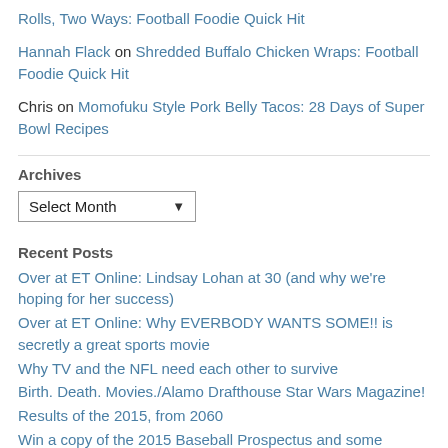Rolls, Two Ways: Football Foodie Quick Hit
Hannah Flack on Shredded Buffalo Chicken Wraps: Football Foodie Quick Hit
Chris on Momofuku Style Pork Belly Tacos: 28 Days of Super Bowl Recipes
Archives
Select Month
Recent Posts
Over at ET Online: Lindsay Lohan at 30 (and why we're hoping for her success)
Over at ET Online: Why EVERBODY WANTS SOME!! is secretly a great sports movie
Why TV and the NFL need each other to survive
Birth. Death. Movies./Alamo Drafthouse Star Wars Magazine!
Results of the 2015, from 2060
Win a copy of the 2015 Baseball Prospectus and some snacks!
Welcome to Sportadically